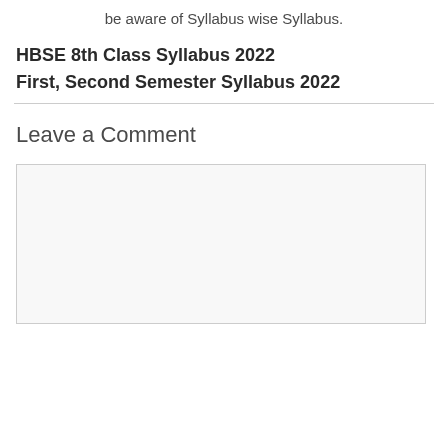be aware of Syllabus wise Syllabus.
HBSE 8th Class Syllabus 2022
First, Second Semester Syllabus 2022
Leave a Comment
[Figure (other): Empty comment text area box with light gray background and border]